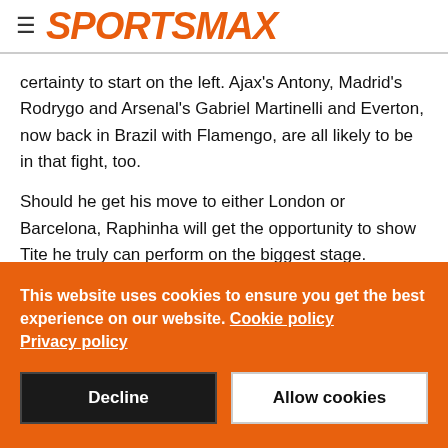SPORTSMAX
certainty to start on the left. Ajax's Antony, Madrid's Rodrygo and Arsenal's Gabriel Martinelli and Everton, now back in Brazil with Flamengo, are all likely to be in that fight, too.
Should he get his move to either London or Barcelona, Raphinha will get the opportunity to show Tite he truly can perform on the biggest stage.
This website uses cookies to ensure you get the best experience on our website. Cookie policy Privacy policy
Decline
Allow cookies